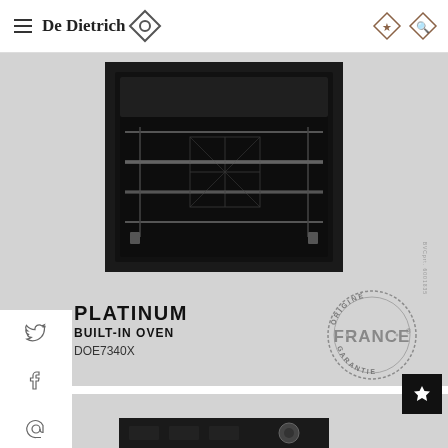De Dietrich
[Figure (photo): De Dietrich Platinum built-in oven interior view showing dark oven cavity with racks and glass window]
PLATINUM
BUILT-IN OVEN
DOE7340X
[Figure (logo): Origine France Garantie circular stamp logo]
[Figure (photo): Partial view of oven control panel at bottom of page]